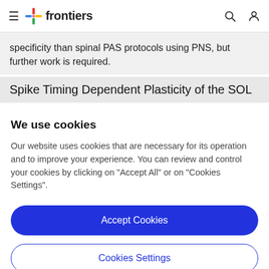frontiers
specificity than spinal PAS protocols using PNS, but further work is required.
Spike Timing Dependent Plasticity of the SOL
We use cookies
Our website uses cookies that are necessary for its operation and to improve your experience. You can review and control your cookies by clicking on "Accept All" or on "Cookies Settings".
Accept Cookies
Cookies Settings